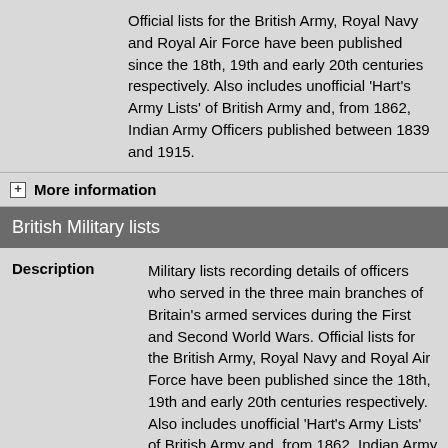Official lists for the British Army, Royal Navy and Royal Air Force have been published since the 18th, 19th and early 20th centuries respectively. Also includes unofficial 'Hart's Army Lists' of British Army and, from 1862, Indian Army Officers published between 1839 and 1915.
More information
British Military lists
Description
Military lists recording details of officers who served in the three main branches of Britain's armed services during the First and Second World Wars. Official lists for the British Army, Royal Navy and Royal Air Force have been published since the 18th, 19th and early 20th centuries respectively. Also includes unofficial 'Hart's Army Lists' of British Army and, from 1862, Indian Army Officers published between 1839 and 1915.
More information